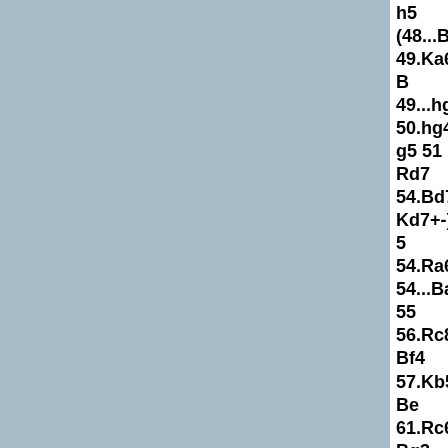h5 (48...Bg5 49.Ka6 B 49...hg4 50.hg4 g5 51 Rd7 54.Bd7 Kd7+-) 5 54.Ra6+-) 54...Ba5 55 56.Rc8 Bf4 57.Kb5 Be 61.Rc6 Bg3 (61...Ke7 63...Ke7 (63...Ke8 64. 66.Rb7 Kf8 67.Kf6 Ke 69...Kd7 70.Rh7 (70.R (70...Ke8 71.Rh5 Bc1 73.Rb5+-) 1–0. petrob ChessWorld.net, 2011
8.Ng5 Bf5!?-/+.
8.Ng5 h6 9.Ne6= fe6 1 Qe7=) 11...Ne7 (11...Q 13.c4 Qc7 (13...b5 14 14...Bh2= 15.Kh1 Nf5 16...Nh4+= 17.f4 Bg3 19.Nh4 (19.Qd2 Nf5 2 Nf1 21.Be5–+) 20...Qc 21...Nd1 22.Rcd1 Rf5 23.Bg4 (23.a4 Re5 24 25.Be2–+) 24.Rf3 (24. (25.Rb5 Qb5 Decoy